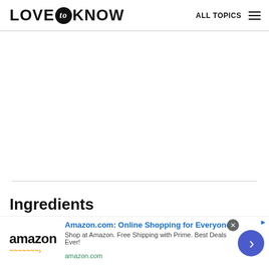LOVE to KNOW  ALL TOPICS
Ingredients
3 cucumber slices, chilled, plus additional for
[Figure (other): Amazon advertisement banner: 'Amazon.com: Online Shopping for Everyone. Shop at Amazon. Free Shipping with Prime. Best Deals Ever! amazon.com']